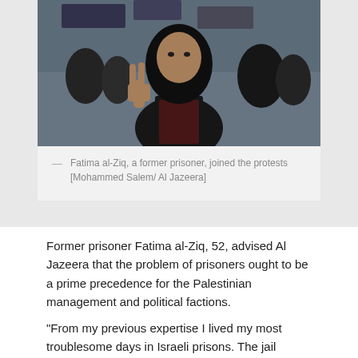[Figure (photo): Fatima al-Ziq, a woman wearing a black hijab and traditional embroidered Palestinian dress, making a peace sign with her hand. She is standing in a crowd at a protest.]
— Fatima al-Ziq, a former prisoner, joined the protests [Mohammed Salem/ Al Jazeera]
Former prisoner Fatima al-Ziq, 52, advised Al Jazeera that the problem of prisoners ought to be a prime precedence for the Palestinian management and political factions.
“From my previous expertise I lived my most troublesome days in Israeli prisons. The jail service used all measures of psychological and bodily torture towards us,” she stated.
“The insurance policies of deprivation of household visits